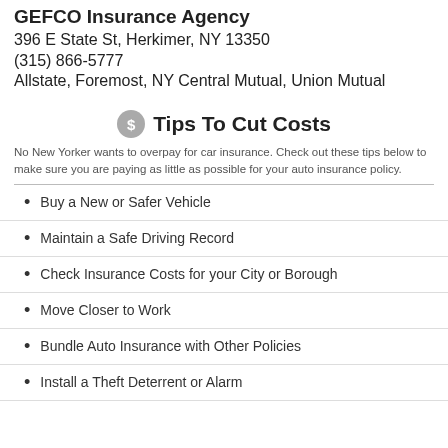GEFCO Insurance Agency
396 E State St, Herkimer, NY 13350
(315) 866-5777
Allstate, Foremost, NY Central Mutual, Union Mutual
Tips To Cut Costs
No New Yorker wants to overpay for car insurance. Check out these tips below to make sure you are paying as little as possible for your auto insurance policy.
Buy a New or Safer Vehicle
Maintain a Safe Driving Record
Check Insurance Costs for your City or Borough
Move Closer to Work
Bundle Auto Insurance with Other Policies
Install a Theft Deterrent or Alarm